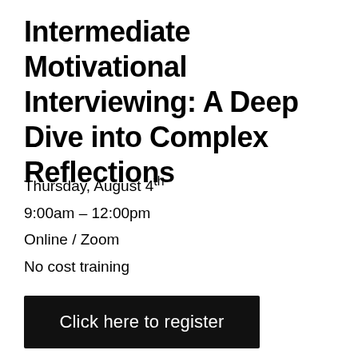Intermediate Motivational Interviewing: A Deep Dive into Complex Reflections
Thursday, August 4th
9:00am – 12:00pm
Online / Zoom
No cost training
Click here to register